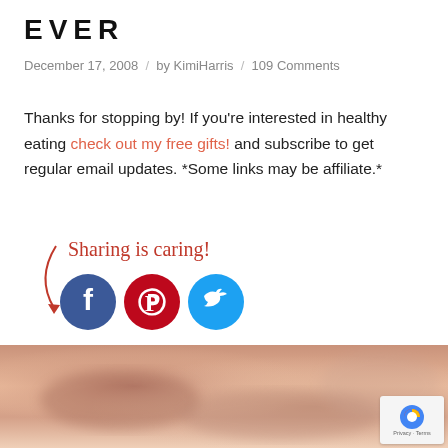EVER
December 17, 2008 / by KimiHarris / 109 Comments
Thanks for stopping by! If you're interested in healthy eating check out my free gifts! and subscribe to get regular email updates. *Some links may be affiliate.*
[Figure (infographic): Sharing is caring text with arrow and social media icons for Facebook, Pinterest, and Twitter]
[Figure (photo): Blurred close-up food photo with warm brown and peach tones]